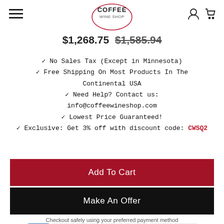COFFEE WINE SHOP
$1,268.75 $1,585.94
✓ No Sales Tax (Except in Minnesota)
✓ Free Shipping On Most Products In The Continental USA
✓ Need Help? Contact us: info@coffeewineshop.com
✓ Lowest Price Guaranteed!
✓ Exclusive: Get 3% off with discount code: CWSQ2
Add To Cart
Make An Offer
Checkout safely using your preferred payment method
[Figure (logo): Payment method icons: American Express, Apple Pay, Discover, Google Pay, MasterCard, PayPal, Visa]